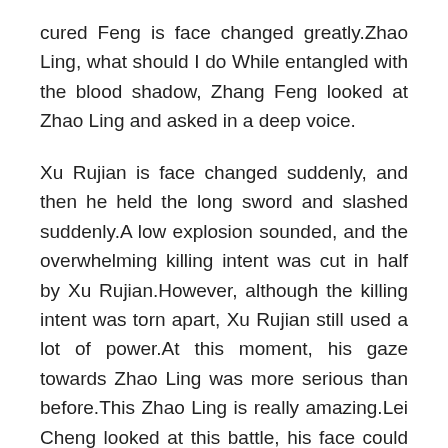cured Feng is face changed greatly.Zhao Ling, what should I do While entangled with the blood shadow, Zhang Feng looked at Zhao Ling and asked in a deep voice.
Xu Rujian is face changed suddenly, and then he held the long sword and slashed suddenly.A low explosion sounded, and the overwhelming killing intent was cut in half by Xu Rujian.However, although the killing intent was torn apart, Xu Rujian still used a lot of power.At this moment, his gaze towards Zhao Ling was more serious than before.This Zhao Ling is really amazing.Lei Cheng looked at this battle, his face could not help sinking, and he said in a low voice.To be honest, a person can still handle best practices to reduce high blood pressure Xu Rujian and Yang Long with ease.This Zhao Ling is really terrifying.At least, he could not do it.I am afraid that the only people who can play against this Zhao Ling here are his bosses Xu Tian and Zhang Feng.